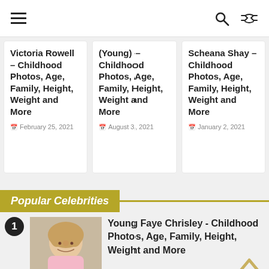Navigation bar with hamburger menu, search and shuffle icons
Victoria Rowell – Childhood Photos, Age, Family, Height, Weight and More
February 25, 2021
(Young) – Childhood Photos, Age, Family, Height, Weight and More
August 3, 2021
Scheana Shay – Childhood Photos, Age, Family, Height, Weight and More
January 2, 2021
Popular Celebrities
Young Faye Chrisley - Childhood Photos, Age, Family, Height, Weight and More